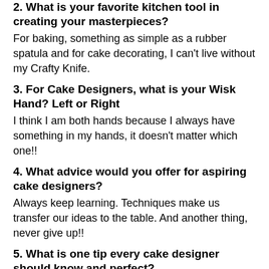2. What is your favorite kitchen tool in creating your masterpieces?
For baking, something as simple as a rubber spatula and for cake decorating, I can't live without my Crafty Knife.
3. For Cake Designers, what is your Wisk Hand? Left or Right
I think I am both hands because I always have something in my hands, it doesn't matter which one!!
4. What advice would you offer for aspiring cake designers?
Always keep learning. Techniques make us transfer our ideas to the table. And another thing, never give up!!
5. What is one tip every cake designer should know and perfect?
Respect the amounts and times but keep a touch of risk.